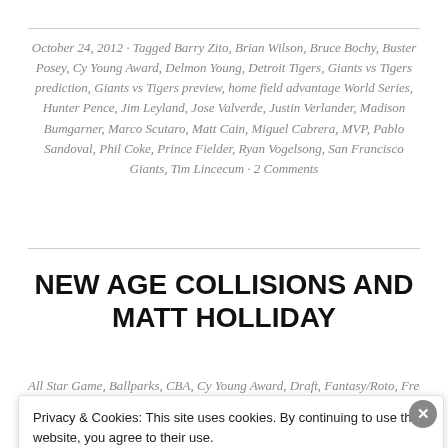October 24, 2012 · Tagged Barry Zito, Brian Wilson, Bruce Bochy, Buster Posey, Cy Young Award, Delmon Young, Detroit Tigers, Giants vs Tigers prediction, Giants vs Tigers preview, home field advantage World Series, Hunter Pence, Jim Leyland, Jose Valverde, Justin Verlander, Madison Bumgarner, Marco Scutaro, Matt Cain, Miguel Cabrera, MVP, Pablo Sandoval, Phil Coke, Prince Fielder, Ryan Vogelsong, San Francisco Giants, Tim Lincecum · 2 Comments
NEW AGE COLLISIONS AND MATT HOLLIDAY
All Star Game, Ballparks, CBA, Cy Young Award, Draft, Fantasy/Roto, Free...
Privacy & Cookies: This site uses cookies. By continuing to use this website, you agree to their use. To find out more, including how to control cookies, see here: Cookie Policy